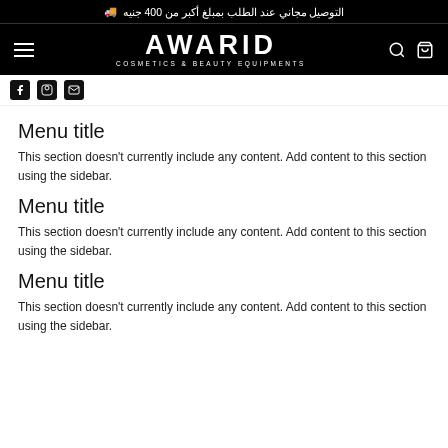التوصيل مجاني عند الطلب بمبلغ أكبر من 400 جنيه 🚚
AWARID COSMETICS & BEAUTY EQUIPMENTS
Menu title
This section doesn't currently include any content. Add content to this section using the sidebar.
Menu title
This section doesn't currently include any content. Add content to this section using the sidebar.
Menu title
This section doesn't currently include any content. Add content to this section using the sidebar.